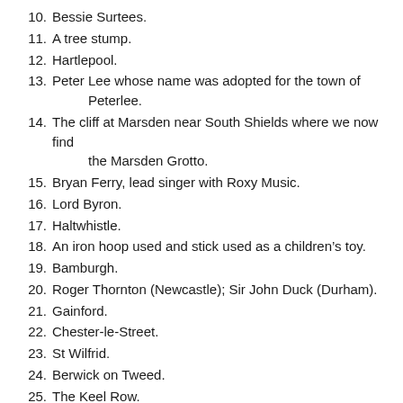10. Bessie Surtees.
11. A tree stump.
12. Hartlepool.
13. Peter Lee whose name was adopted for the town of Peterlee.
14. The cliff at Marsden near South Shields where we now find the Marsden Grotto.
15. Bryan Ferry, lead singer with Roxy Music.
16. Lord Byron.
17. Haltwhistle.
18. An iron hoop used and stick used as a children’s toy.
19. Bamburgh.
20. Roger Thornton (Newcastle); Sir John Duck (Durham).
21. Gainford.
22. Chester-le-Street.
23. St Wilfrid.
24. Berwick on Tweed.
25. The Keel Row.
26. Newcastle Brown Ale.